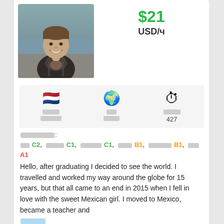[Figure (photo): Profile photo of a smiling man wearing a jacket with a backpack, outdoors]
$21
USD/ч
| 🇳🇱 [flag] | 🌍 [globe] | ⏱ [stopwatch] |
| [redacted label] | [redacted label] | [redacted label] |
| [redacted value] | [redacted value] | 427 |
[redacted]: [language list with levels] C2, C1, C1, B1, B1, A1
Hello, after graduating I decided to see the world. I travelled and worked my way around the globe for 15 years, but that all came to an end in 2015 when I fell in love with the sweet Mexican girl. I moved to Mexico, became a teacher and
[read more link - redacted]
[Contact button - redacted]